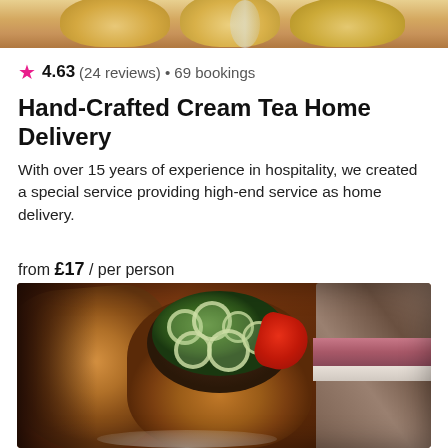[Figure (photo): Top portion of food items (scones/pastries) on a plate, partially cropped]
4.63 (24 reviews) • 69 bookings
Hand-Crafted Cream Tea Home Delivery
With over 15 years of experience in hospitality, we created a special service providing high-end service as home delivery.
from £17 / per person
[Figure (photo): Close-up food photo showing a bread roll filled with green spring onions/leeks and red pepper, with a pastry on the left and a sandwich on the right]